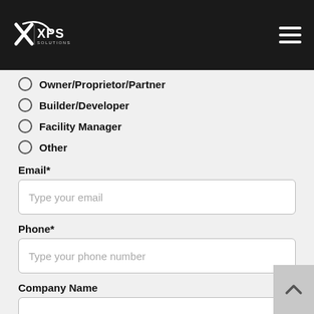[Figure (logo): XPS Solutions logo on dark header bar with hamburger menu icon]
Owner/Proprietor/Partner
Builder/Developer
Facility Manager
Other
Email*
Type your email
Phone*
Type your phone number
Company Name